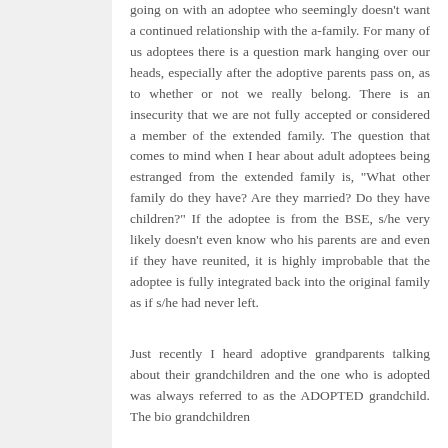going on with an adoptee who seemingly doesn't want a continued relationship with the a-family. For many of us adoptees there is a question mark hanging over our heads, especially after the adoptive parents pass on, as to whether or not we really belong. There is an insecurity that we are not fully accepted or considered a member of the extended family. The question that comes to mind when I hear about adult adoptees being estranged from the extended family is, "What other family do they have? Are they married? Do they have children?" If the adoptee is from the BSE, s/he very likely doesn't even know who his parents are and even if they have reunited, it is highly improbable that the adoptee is fully integrated back into the original family as if s/he had never left.
Just recently I heard adoptive grandparents talking about their grandchildren and the one who is adopted was always referred to as the ADOPTED grandchild. The bio grandchildren...